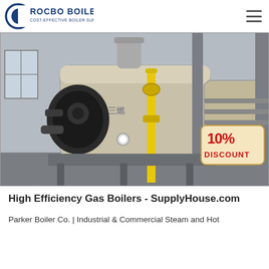ROCBO BOILER - COST-EFFECTIVE BOILER SUPPLIER
[Figure (photo): Industrial gas boilers in a factory setting with a 10% DISCOUNT badge overlay. Large cylindrical boiler tanks with burner assembly, yellow gas pipes, and grey structural framework visible.]
High Efficiency Gas Boilers - SupplyHouse.com
Parker Boiler Co. | Industrial & Commercial Steam and Hot